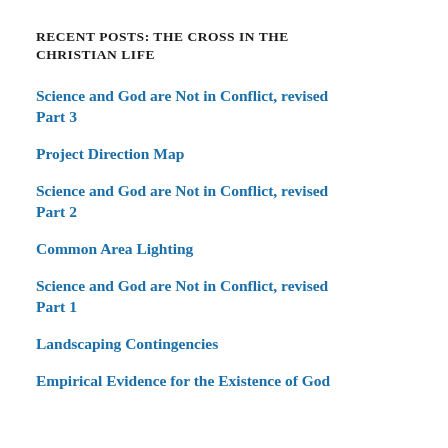RECENT POSTS: THE CROSS IN THE CHRISTIAN LIFE
Science and God are Not in Conflict, revised Part 3
Project Direction Map
Science and God are Not in Conflict, revised Part 2
Common Area Lighting
Science and God are Not in Conflict, revised Part 1
Landscaping Contingencies
Empirical Evidence for the Existence of God